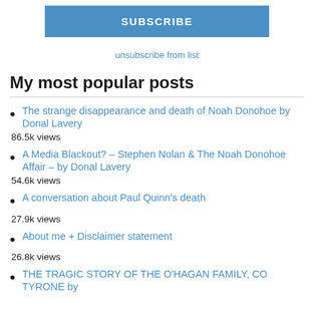SUBSCRIBE
unsubscribe from list
My most popular posts
The strange disappearance and death of Noah Donohoe by Donal Lavery
86.5k views
A Media Blackout? – Stephen Nolan & The Noah Donohoe Affair – by Donal Lavery
54.6k views
A conversation about Paul Quinn's death
27.9k views
About me + Disclaimer statement
26.8k views
THE TRAGIC STORY OF THE O'HAGAN FAMILY, CO TYRONE by